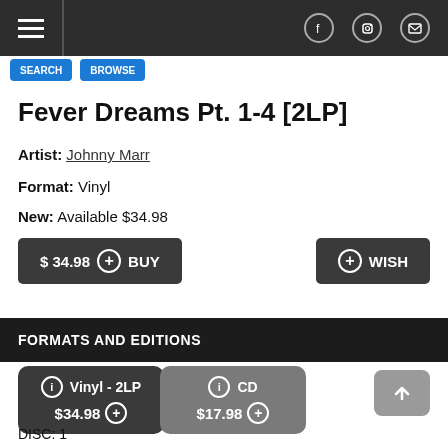Navigation bar with hamburger menu and social icons (Facebook, Instagram, Email)
Fever Dreams Pt. 1-4 [2LP]
Artist: Johnny Marr
Format: Vinyl
New: Available $34.98
$ 34.98 + BUY
+ WISH
FORMATS AND EDITIONS
Vinyl - 2LP $34.98 +
CD $17.98 +
DISC: 1